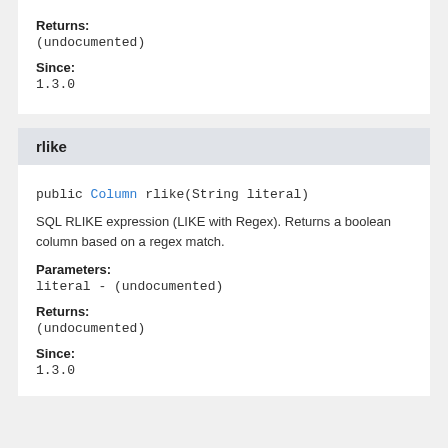Returns:
(undocumented)
Since:
1.3.0
rlike
public Column rlike(String literal)
SQL RLIKE expression (LIKE with Regex). Returns a boolean column based on a regex match.
Parameters:
literal - (undocumented)
Returns:
(undocumented)
Since:
1.3.0